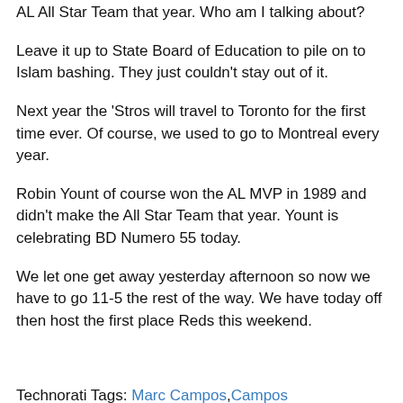AL All Star Team that year.  Who am I talking about?
Leave it up to State Board of Education to pile on to Islam bashing.  They just couldn't stay out of it.
Next year the 'Stros will travel to Toronto for the first time ever.  Of course, we used to go to Montreal every year.
Robin Yount of course won the AL MVP in 1989 and didn't make the All Star Team that year.  Yount is celebrating BD Numero 55 today.
We let one get away yesterday afternoon so now we have to go 11-5 the rest of the way.  We have today off then host the first place Reds this weekend.
Technorati Tags: Marc Campos,Campos